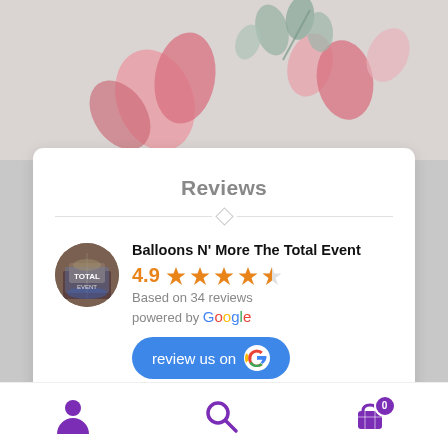[Figure (screenshot): Decorative background with pink flower petals and green eucalyptus leaves on a light gray surface]
Reviews
[Figure (infographic): Business listing card for 'Balloons N' More The Total Event' showing 4.9 star rating based on 34 reviews, powered by Google, with a 'review us on Google' button]
Balloons N' More The Total Event
4.9 ★★★★☆
Based on 34 reviews
powered by Google
review us on G
[Figure (screenshot): Bottom navigation bar with purple person icon, purple search icon, and purple cart icon with badge showing 0]